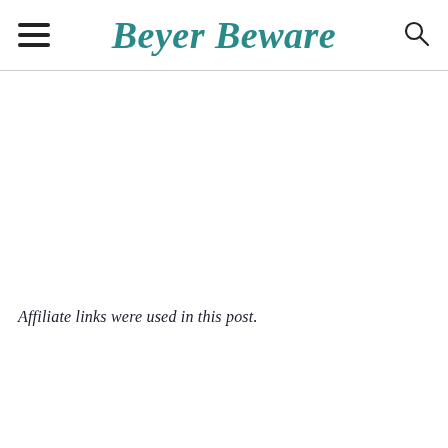Beyer Beware
Affiliate links were used in this post.